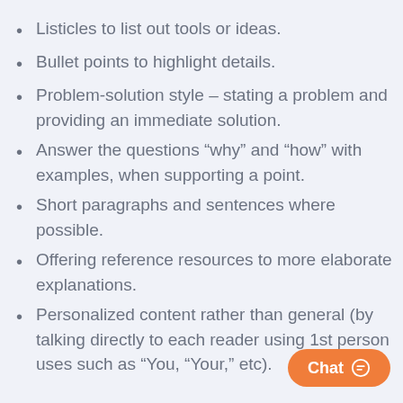Listicles to list out tools or ideas.
Bullet points to highlight details.
Problem-solution style – stating a problem and providing an immediate solution.
Answer the questions “why” and “how” with examples, when supporting a point.
Short paragraphs and sentences where possible.
Offering reference resources to more elaborate explanations.
Personalized content rather than general (by talking directly to each reader using 1st person uses such as “You, “Your,” etc).